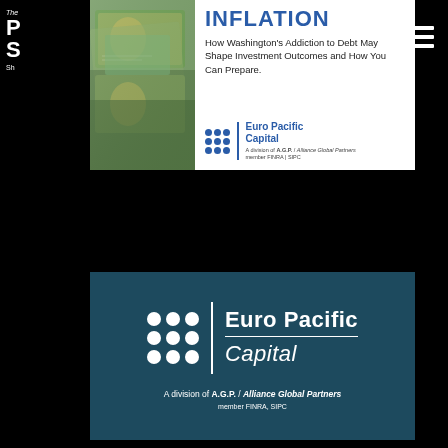[Figure (illustration): Book cover for 'INFLATION: How Washington's Addiction to Debt May Shape Investment Outcomes and How You Can Prepare.' by Euro Pacific Capital, A division of A.G.P. / Alliance Global Partners, member FINRA, SIPC. Left side shows dollar bills image.]
[Figure (logo): Euro Pacific Capital logo on dark teal background. Grid of 9 white dots (3x3) beside a vertical white line, followed by 'Euro Pacific' in bold white and 'Capital' in italic white below a horizontal rule. Tagline: 'A division of A.G.P. / Alliance Global Partners, member FINRA, SIPC.']